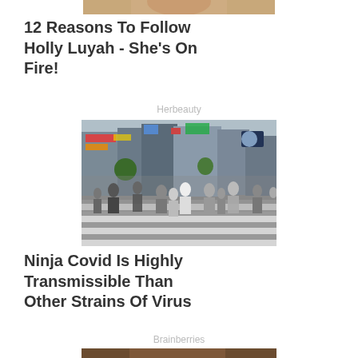[Figure (photo): Cropped top of image, partial view of person, flesh-toned]
12 Reasons To Follow Holly Luyah - She's On Fire!
Herbeauty
[Figure (photo): Busy pedestrian crossing in Tokyo / Shibuya, crowds of people wearing masks crossing a zebra crossing with urban storefronts and billboards in background]
Ninja Covid Is Highly Transmissible Than Other Strains Of Virus
Brainberries
[Figure (photo): Partial bottom image, dark toned, cropped top of a person]